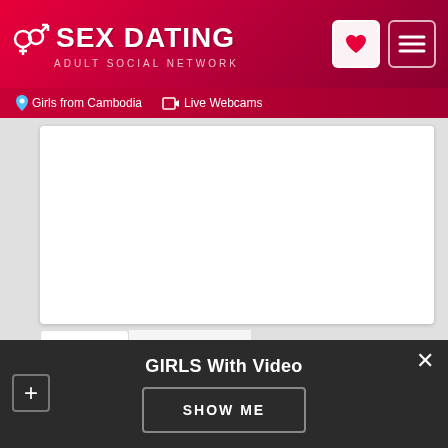SEX DATING ADULT SOCIAL NETWORK | Girls from Cambodia | Live Webcams
[Figure (screenshot): White image placeholder card area]
Profile    Reviews (0)
Location: Senmonorom    23 years old
GIRLS With Video
SHOW ME